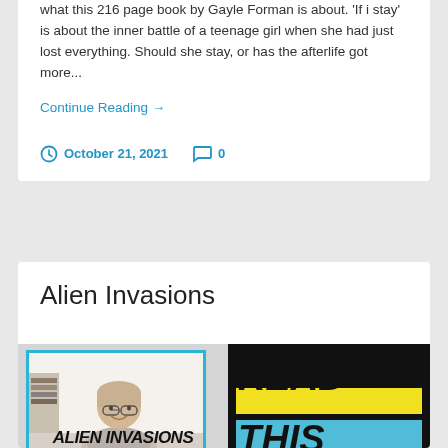what this 216 page book by Gayle Forman is about. 'If i stay' is about the inner battle of a teenage girl when she had just lost everything. Should she stay, or has the afterlife got more...
Continue Reading →
October 21, 2021   0
Alien Invasions
[Figure (photo): A woman smiling at the camera, wearing glasses, inside a room with shelves in the background. Photo has a light blue border frame. Below is bold italic text reading ALIEN INVASIONS.]
[Figure (illustration): Book cover or graphic with yellow and blue brush strokes and bold black text reading READ THIS on a dark background.]